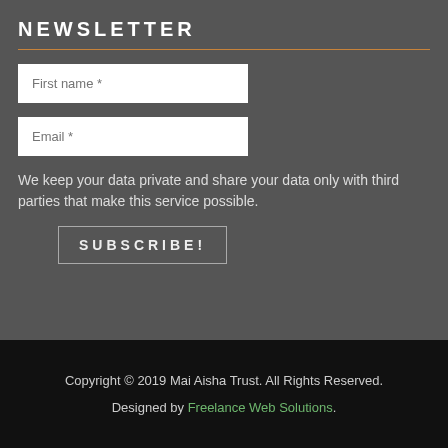NEWSLETTER
First name *
Email *
We keep your data private and share your data only with third parties that make this service possible.
SUBSCRIBE!
Copyright © 2019 Mai Aisha Trust. All Rights Reserved.
Designed by Freelance Web Solutions.